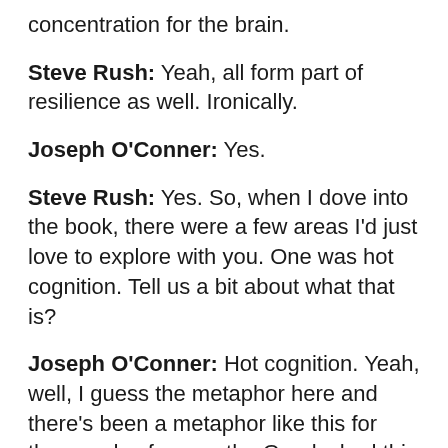concentration for the brain.
Steve Rush: Yeah, all form part of resilience as well. Ironically.
Joseph O'Conner: Yes.
Steve Rush: Yes. So, when I dove into the book, there were a few areas I'd just love to explore with you. One was hot cognition. Tell us a bit about what that is?
Joseph O'Conner: Hot cognition. Yeah, well, I guess the metaphor here and there's been a metaphor like this for thousands of years, the Greeks had this metaphor of the human being as a charioteer. And they have two horses drawing